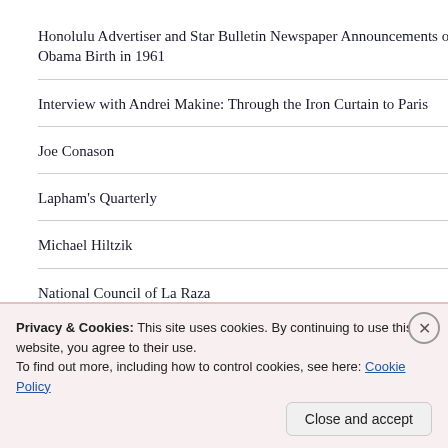Honolulu Advertiser and Star Bulletin Newspaper Announcements of Obama Birth in 1961
Interview with Andrei Makine: Through the Iron Curtain to Paris
Joe Conason
Lapham's Quarterly
Michael Hiltzik
National Council of La Raza
Natural Resources Defense Council
Occupy the SEC
Occupy Wall Street
Privacy & Cookies: This site uses cookies. By continuing to use this website, you agree to their use.
To find out more, including how to control cookies, see here: Cookie Policy
Close and accept